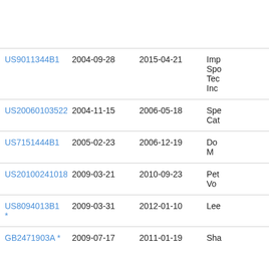| Patent | Filed | Published | Inventor |
| --- | --- | --- | --- |
| US9011344B1 | 2004-09-28 | 2015-04-21 | Imp Spo Tec Inc |
| US20060103522A1 | 2004-11-15 | 2006-05-18 | Spe Cat |
| US7151444B1 | 2005-02-23 | 2006-12-19 | Do M |
| US20100241018A1 | 2009-03-21 | 2010-09-23 | Pet Vo |
| US8094013B1 * | 2009-03-31 | 2012-01-10 | Lee |
| GB2471903A * | 2009-07-17 | 2011-01-19 | Sha |